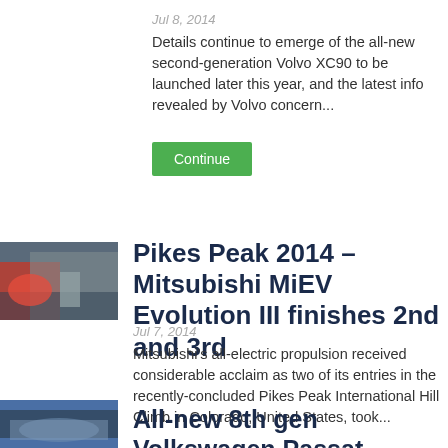Jul 8, 2014
Details continue to emerge of the all-new second-generation Volvo XC90 to be launched later this year, and the latest info revealed by Volvo concern...
Continue
[Figure (photo): Thumbnail image for Pikes Peak 2014 Mitsubishi MiEV article showing racing scene]
Pikes Peak 2014 – Mitsubishi MiEV Evolution III finishes 2nd and 3rd
Jul 7, 2014
Mitsubishi's all-electric propulsion received considerable acclaim as two of its entries in the recently-concluded Pikes Peak International Hill Climb in Colorado, United States, took...
Continue
[Figure (photo): Thumbnail image for All-new 8th gen Volkswagen Passat article]
All-new 8th gen Volkswagen Passat